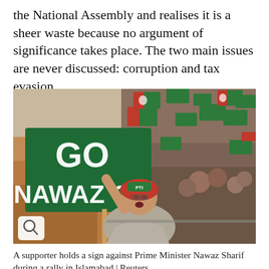the National Assembly and realises it is a sheer waste because no argument of significance takes place. The two main issues are never discussed: corruption and tax evasion.
[Figure (photo): A woman supporter holds a large green sign reading 'GO NAWAZ GO' at a political rally, surrounded by crowds waving red and green PTI flags. A magnify icon button is visible in the lower left corner of the photo.]
A supporter holds a sign against Prime Minister Nawaz Sharif during a rally in Islamabad | Reuters